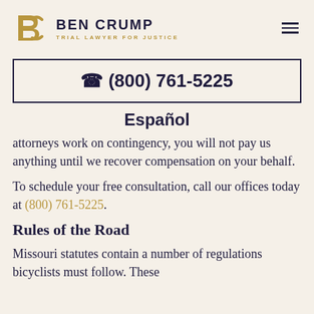BEN CRUMP TRIAL LAWYER FOR JUSTICE
☎ (800) 761-5225
Español
attorneys work on contingency, you will not pay us anything until we recover compensation on your behalf.
To schedule your free consultation, call our offices today at (800) 761-5225.
Rules of the Road
Missouri statutes contain a number of regulations bicyclists must follow. These